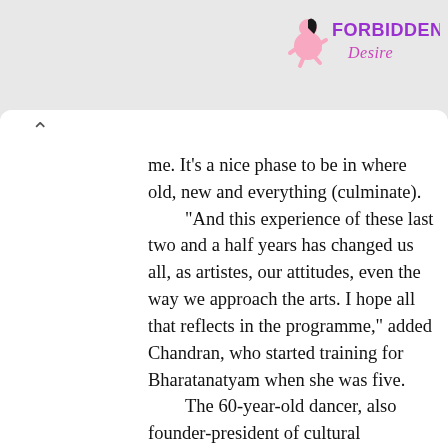[Figure (logo): Forbidden Desire logo with stylized pink figure and purple/pink text reading FORBIDDEN Desire]
me. It's a nice phase to be in where old, new and everything (culminate).

"And this experience of these last two and a half years has changed us all, as artistes, our attitudes, even the way we approach the arts. I hope all that reflects in the programme," added Chandran, who started training for Bharatanatyam when she was five.

The 60-year-old dancer, also founder-president of cultural organisation Natya Vriksha, said it was unfortunate that the pedagogy of dance has been limited to performance, which becomes "a very